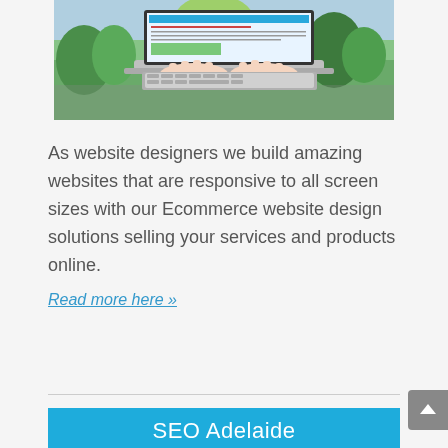[Figure (photo): Person typing on a laptop with a garden/nature scene visible on the laptop screen, set outdoors with greenery in the background.]
As website designers we build amazing websites that are responsive to all screen sizes with our Ecommerce website design solutions selling your services and products online.
Read more here »
SEO Adelaide